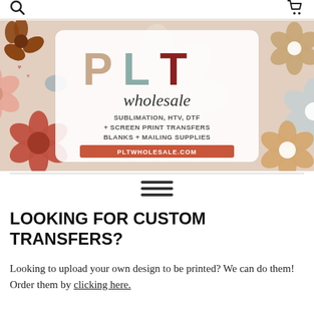PLT Wholesale - search and cart icons
[Figure (logo): PLT Wholesale banner with colorful daisy flower background. Center white rounded box shows PLT logo in large letters (P in tan/beige, L in teal, T in dark red), 'wholesale' in cursive script, 'SUBLIMATION, HTV, DTF + SCREEN PRINT TRANSFERS BLANKS + MAILING SUPPLIES' and 'PLTWHOLESALE.COM' in a red banner.]
LOOKING FOR CUSTOM TRANSFERS?
Looking to upload your own design to be printed? We can do them! Order them by clicking here.